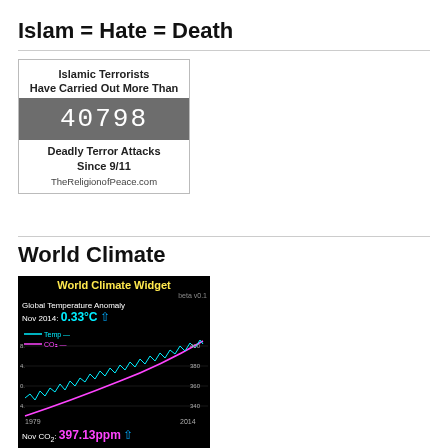Islam = Hate = Death
[Figure (infographic): Counter showing Islamic Terrorists Have Carried Out More Than 40798 Deadly Terror Attacks Since 9/11, TheReligionofPeace.com]
World Climate
[Figure (line-chart): World Climate Widget showing Global Temperature Anomaly Nov 2014: 0.33°C with trend lines for Temp and CO2 from 1979 to 2014; Nov CO2: 397.13ppm; Nov monthly: Sunspot #]